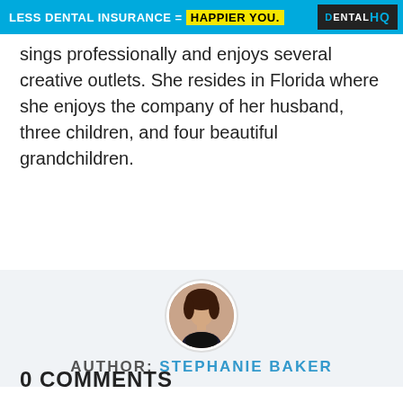[Figure (infographic): Banner advertisement: 'LESS DENTAL INSURANCE = HAPPIER YOU.' with DentalHQ logo on the right]
sings professionally and enjoys several creative outlets. She resides in Florida where she enjoys the company of her husband, three children, and four beautiful grandchildren.
[Figure (photo): Circular profile photo of Stephanie Baker]
AUTHOR: STEPHANIE BAKER
0 COMMENTS